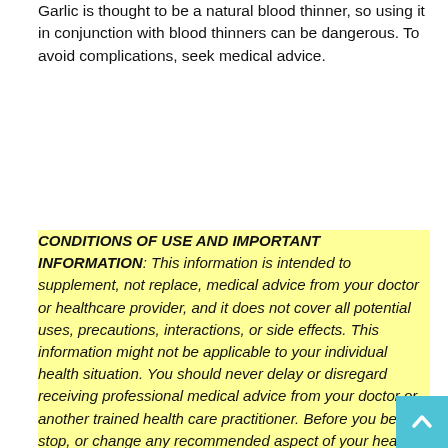Garlic is thought to be a natural blood thinner, so using it in conjunction with blood thinners can be dangerous. To avoid complications, seek medical advice.
CONDITIONS OF USE AND IMPORTANT INFORMATION: This information is intended to supplement, not replace, medical advice from your doctor or healthcare provider, and it does not cover all potential uses, precautions, interactions, or side effects. This information might not be applicable to your individual health situation. You should never delay or disregard receiving professional medical advice from your doctor or another trained health care practitioner. Before you begin, stop, or change any recommended aspect of your health care plan or treatment, you should always consult with your doctor